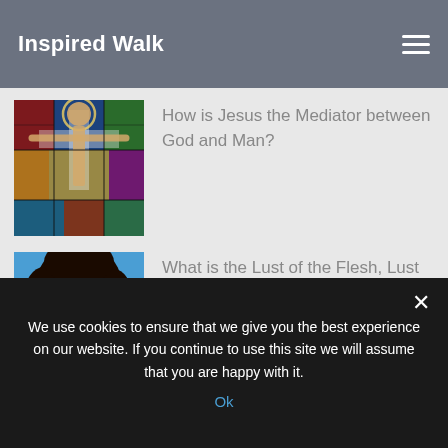Inspired Walk
[Figure (illustration): Stained glass image of Jesus on the cross with arms outstretched]
How is Jesus the Mediator between God and Man?
[Figure (photo): Woman with curly hair wearing sunglasses pointing at camera]
What is the Lust of the Flesh, Lust of the Eyes & the Pride of Life? (1 John 2:16)
[Figure (photo): Person looking through a magnifying glass]
What is Spiritual Blindness?
We use cookies to ensure that we give you the best experience on our website. If you continue to use this site we will assume that you are happy with it.
Ok